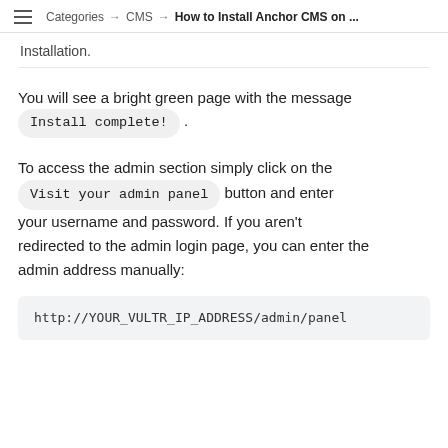Categories → CMS → How to Install Anchor CMS on ...
Installation.
You will see a bright green page with the message Install complete! .
To access the admin section simply click on the Visit your admin panel button and enter your username and password. If you aren't redirected to the admin login page, you can enter the admin address manually:
http://YOUR_VULTR_IP_ADDRESS/admin/panel